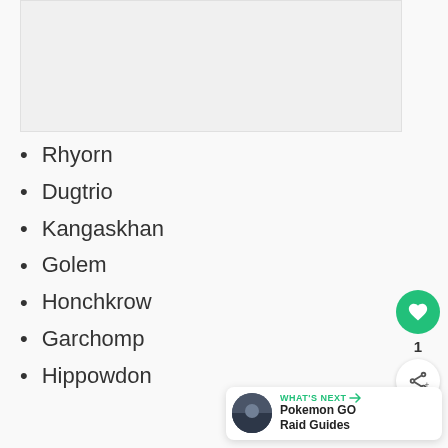[Figure (other): Image placeholder area at top of page]
Rhyorn
Dugtrio
Kangaskhan
Golem
Honchkrow
Garchomp
Hippowdon